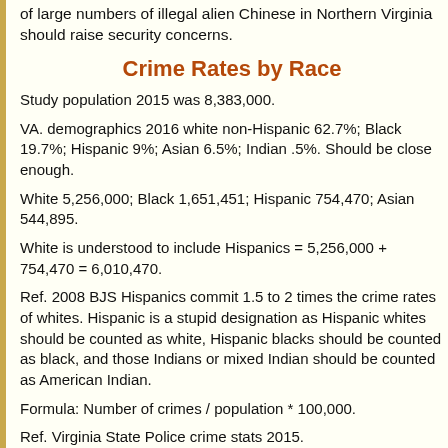of large numbers of illegal alien Chinese in Northern Virginia should raise security concerns.
Crime Rates by Race
Study population 2015 was 8,383,000.
VA. demographics 2016 white non-Hispanic 62.7%; Black 19.7%; Hispanic 9%; Asian 6.5%; Indian .5%. Should be close enough.
White 5,256,000; Black 1,651,451; Hispanic 754,470; Asian 544,895.
White is understood to include Hispanics = 5,256,000 + 754,470 = 6,010,470.
Ref. 2008 BJS Hispanics commit 1.5 to 2 times the crime rates of whites. Hispanic is a stupid designation as Hispanic whites should be counted as white, Hispanic blacks should be counted as black, and those Indians or mixed Indian should be counted as American Indian.
Formula: Number of crimes / population * 100,000.
Ref. Virginia State Police crime stats 2015.
Murder